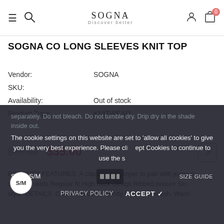SOGNA — Discover better (navigation bar with menu, search, logo, user, cart)
SOGNA CO LONG SLEEVES KNIT TOP
| Field | Value |
| --- | --- |
| Vendor: | SOGNA |
| SKU: |  |
| Availability: | Out of stock |
| Product Type: | KNITWEAR |
$59.00  $35.00
PRODUCT FEATURES  A classic knit jumper to pair with jeans or trending skirts Regular fit High neck design Ribbed texture Slip... style  DETAILS  Care instruction: Gently cold hand wash. Wash separately. Do not bleach. Do not tumble dry. Drip dry in the shade inside out.
Size : S/M   SIZE GUIDE
The cookie settings on this website are set to 'allow all cookies' to give you the very best experience. Please click Accept Cookies to continue to use the s...
PRIVACY POLICY   ACCEPT ✓